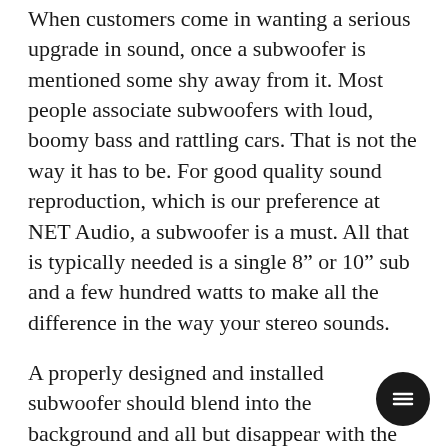When customers come in wanting a serious upgrade in sound, once a subwoofer is mentioned some shy away from it. Most people associate subwoofers with loud, boomy bass and rattling cars. That is not the way it has to be. For good quality sound reproduction, which is our preference at NET Audio, a subwoofer is a must. All that is typically needed is a single 8" or 10" sub and a few hundred watts to make all the difference in the way your stereo sounds.
A properly designed and installed subwoofer should blend into the background and all but disappear with the music. A sub is more than a speaker, it is really a subwoofer system. A subwoofer should be set up to be dedicated to doing nothing but playing the absolute lowest frequencies in the audio spectrum. That means it is that much more important that the sub is installed properly for it to do what it is intended to do and perform an its fullest. The proper sub box and placement in your vehicle make all the difference in